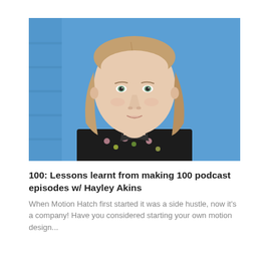[Figure (photo): Headshot of a young woman with straight shoulder-length light brown hair, green eyes, wearing a floral patterned dark jacket, posed against a bright blue wall/background.]
100: Lessons learnt from making 100 podcast episodes w/ Hayley Akins
When Motion Hatch first started it was a side hustle, now it's a company! Have you considered starting your own motion design...